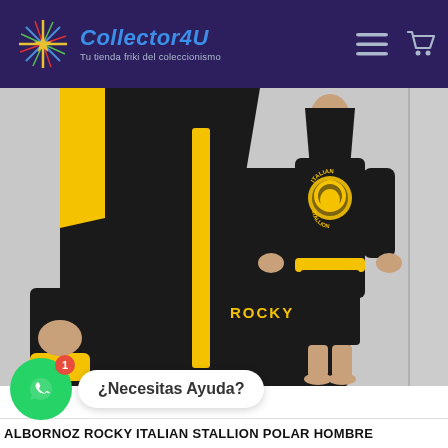[Figure (logo): Collector4U logo with starburst/firework icon in purple header. Text: 'Collector4U' in blue italic bold, tagline: 'Tu tienda friki del coleccionismo']
[Figure (photo): Product photo of Rocky Italian Stallion black and yellow fleece robe. Left side shows close-up of the robe with yellow trim and 'ROCKY' text in yellow on the chest. Right side shows the back of the robe worn by a person, with 'ITALIAN STALLION' text and a lion head emblem in yellow on the back.]
¿Necesitas Ayuda?
ALBORNOZ ROCKY ITALIAN STALLION POLAR HOMBRE